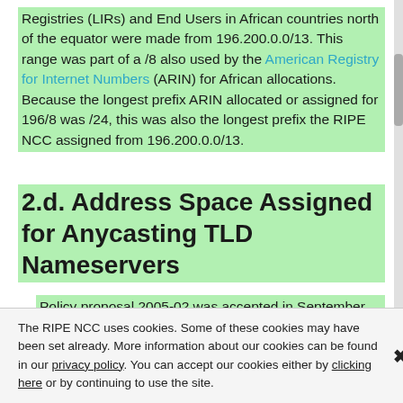Registries (LIRs) and End Users in African countries north of the equator were made from 196.200.0.0/13. This range was part of a /8 also used by the American Registry for Internet Numbers (ARIN) for African allocations. Because the longest prefix ARIN allocated or assigned for 196/8 was /24, this was also the longest prefix the RIPE NCC assigned from 196.200.0.0/13.
2.d. Address Space Assigned for Anycasting TLD Nameservers
Policy proposal 2005-02 was accepted in September 2006 and allowed the RIPE NCC to assign single IPv4 and IPv6 prefixes to Top Level
The RIPE NCC uses cookies. Some of these cookies may have been set already. More information about our cookies can be found in our privacy policy. You can accept our cookies either by clicking here or by continuing to use the site.